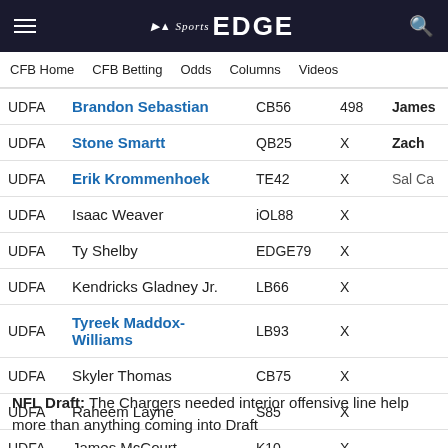NBC Sports EDGE
CFB Home  CFB Betting  Odds  Columns  Videos
| Type | Name | Pos | Num | Extra |
| --- | --- | --- | --- | --- |
| UDFA | Brandon Sebastian | CB56 | 498 | James |
| UDFA | Stone Smartt | QB25 | X | Zach |
| UDFA | Erik Krommenhoek | TE42 | X | Sal Ca |
| UDFA | Isaac Weaver | iOL88 | X |  |
| UDFA | Ty Shelby | EDGE79 | X |  |
| UDFA | Kendricks Gladney Jr. | LB66 | X |  |
| UDFA | Tyreek Maddox-Williams | LB93 | X |  |
| UDFA | Skyler Thomas | CB75 | X |  |
| UDFA | Raheem Layne | S85 | X |  |
| UDFA | James McCourt | K10 | X |  |
NFL Draft: The Chargers needed interior offensive line help more than anything coming into Draft